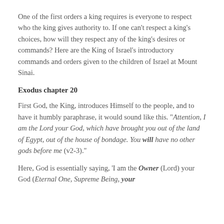One of the first orders a king requires is everyone to respect who the king gives authority to. If one can't respect a king's choices, how will they respect any of the king's desires or commands? Here are the King of Israel's introductory commands and orders given to the children of Israel at Mount Sinai.
Exodus chapter 20
First God, the King, introduces Himself to the people, and to have it humbly paraphrase, it would sound like this. "Attention, I am the Lord your God, which have brought you out of the land of Egypt, out of the house of bondage. You will have no other gods before me (v2-3)."
Here, God is essentially saying, 'I am the Owner (Lord) your God (Eternal One, Supreme Being, your